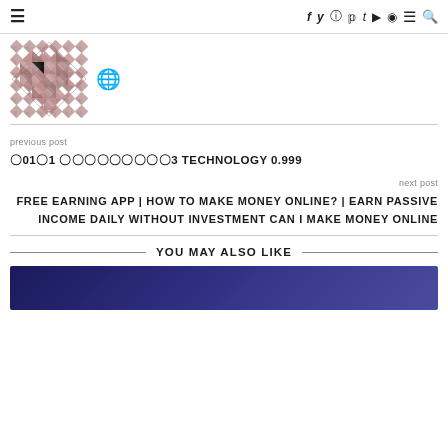≡  f y ⓘ ⓟ t ▶ ◉ ≡ 🔍
[Figure (logo): Geometric diamond/triangle pattern logo in mauve/rose color, with a globe icon to the right]
previous post
〇01〇1 〇〇〇〇〇〇〇〇〇3 TECHNOLOGY 0.999
next post
FREE EARNING APP | HOW TO MAKE MONEY ONLINE? | EARN PASSIVE INCOME DAILY WITHOUT INVESTMENT CAN I MAKE MONEY ONLINE
YOU MAY ALSO LIKE
[Figure (photo): Dark blue/purple textured background preview image]